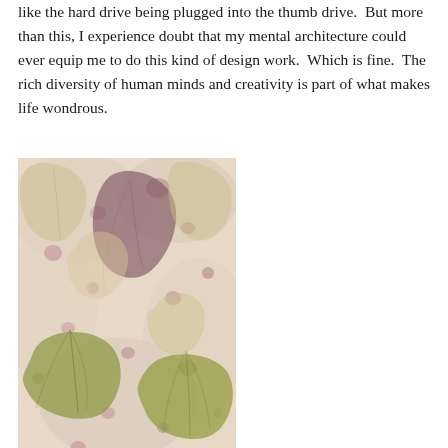like the hard drive being plugged into the thumb drive.  But more than this, I experience doubt that my mental architecture could ever equip me to do this kind of design work.  Which is fine.  The rich diversity of human minds and creativity is part of what makes life wondrous.
[Figure (photo): Close-up photograph of botanical print or eco-print on fabric/paper showing leaf impressions in yellow-green, muted purple, and brownish tones on a pale pinkish-cream background.]